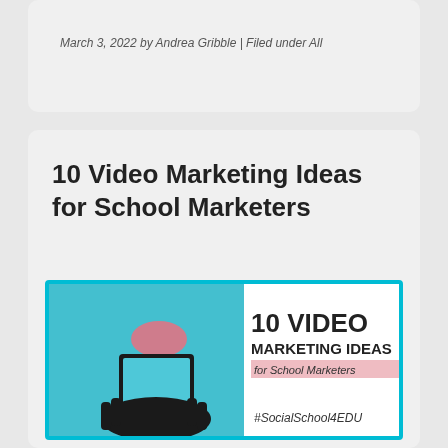March 3, 2022 by Andrea Gribble | Filed under All
10 Video Marketing Ideas for School Marketers
[Figure (illustration): Promotional image with text '10 VIDEO MARKETING IDEAS for School Marketers #SocialSchool4EDU' showing a silhouette of hands holding a phone photographing a jellyfish in an aquarium.]
A guest post from Brendan Schneider,